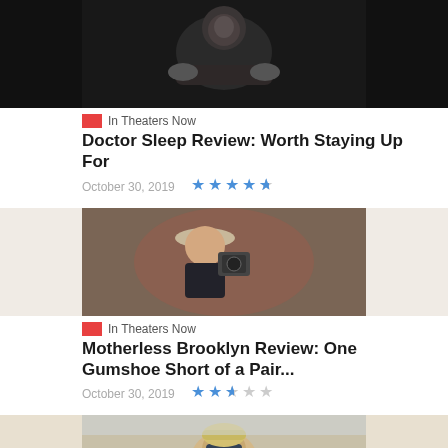[Figure (photo): Dark movie still showing a man in a gray shirt leaning forward in low light]
In Theaters Now
Doctor Sleep Review: Worth Staying Up For
October 30, 2019
[Figure (other): Star rating: 4.5 out of 5 blue stars]
[Figure (photo): Movie still of a man in a cowboy hat looking through a camera]
In Theaters Now
Motherless Brooklyn Review: One Gumshoe Short of a Pair...
October 30, 2019
[Figure (other): Star rating: 2.5 out of 5 blue stars]
[Figure (photo): Movie still of a blonde woman wearing sunglasses outdoors]